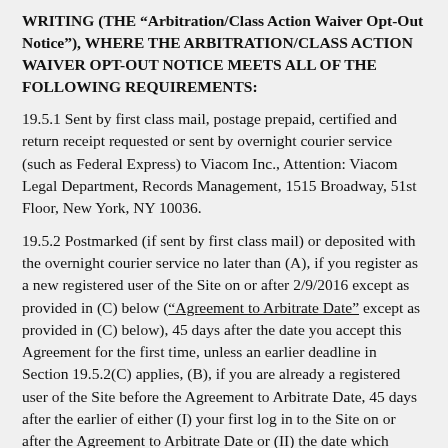WRITING (THE "Arbitration/Class Action Waiver Opt-Out Notice"), WHERE THE ARBITRATION/CLASS ACTION WAIVER OPT-OUT NOTICE MEETS ALL OF THE FOLLOWING REQUIREMENTS:
19.5.1 Sent by first class mail, postage prepaid, certified and return receipt requested or sent by overnight courier service (such as Federal Express) to Viacom Inc., Attention: Viacom Legal Department, Records Management, 1515 Broadway, 51st Floor, New York, NY 10036.
19.5.2 Postmarked (if sent by first class mail) or deposited with the overnight courier service no later than (A), if you register as a new registered user of the Site on or after 2/9/2016 except as provided in (C) below ("Agreement to Arbitrate Date" except as provided in (C) below), 45 days after the date you accept this Agreement for the first time, unless an earlier deadline in Section 19.5.2(C) applies, (B), if you are already a registered user of the Site before the Agreement to Arbitrate Date, 45 days after the earlier of either (I) your first log in to the Site on or after the Agreement to Arbitrate Date or (II) the date which email notice of the Agreement containing this Section 19, if any, was sent to the email address associated with your user registration, unless an earlier deadline in Section 19.5.2(C) applies or (C) for all other users of the Site, 45 days after you accept this Agreement for the first time on or after the Agreement to Arbitrate